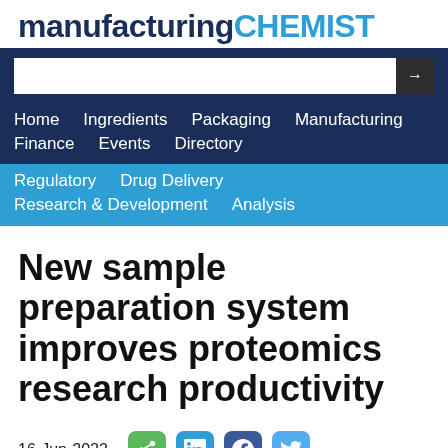manufacturing CHEMIST
[Figure (screenshot): Navigation bar with search field, main nav links (Home, Ingredients, Packaging, Manufacturing, Finance, Events, Directory) and sub-nav links (Regulatory, Drug Delivery, Research & Development, Analysis)]
New sample preparation system improves proteomics research productivity
16-Jun-2022